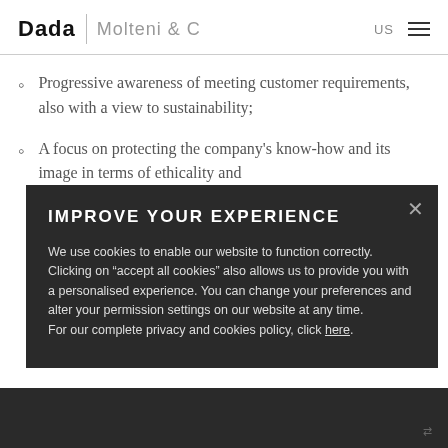Dada | Molteni & C  US
Progressive awareness of meeting customer requirements, also with a view to sustainability;
A focus on protecting the company's know-how and its image in terms of ethicality and
IMPROVE YOUR EXPERIENCE
We use cookies to enable our website to function correctly. Clicking on "accept all cookies" also allows us to provide you with a personalised experience. You can change your preferences and alter your permission settings on our website at any time.
For our complete privacy and cookies policy, click here.